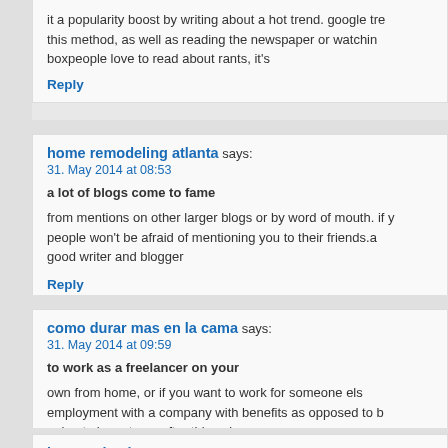it a popularity boost by writing about a hot trend. google tre this method, as well as reading the newspaper or watchin boxpeople love to read about rants, it's
Reply
home remodeling atlanta says:
31. May 2014 at 08:53
a lot of blogs come to fame
from mentions on other larger blogs or by word of mouth. if y people won't be afraid of mentioning you to their friends.a good writer and blogger
Reply
como durar mas en la cama says:
31. May 2014 at 09:59
to work as a freelancer on your
own from home, or if you want to work for someone els employment with a company with benefits as opposed to b going to have to go after things in
Reply
best anti aging eye cream says: